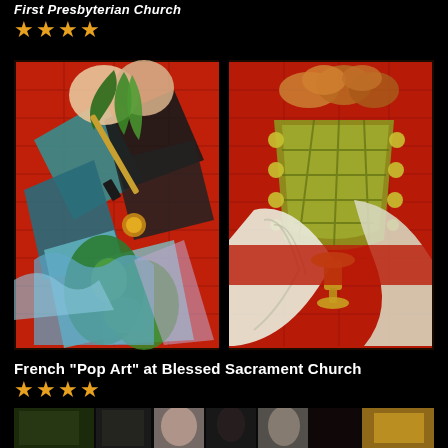First Presbyterian Church
★★★★
[Figure (photo): Stained glass windows showing two panels: left panel with tools (paintbrush, leaves/thistle motif) against red background; right panel with a basket of bread/loaves and a chalice, against red and white fabric background. Colorful, bold, stylized religious art.]
French “Pop Art” at Blessed Sacrament Church
★★★★
[Figure (photo): Partial view of stained glass windows in darker tones showing figures and colorful glass panels at the bottom of the page.]